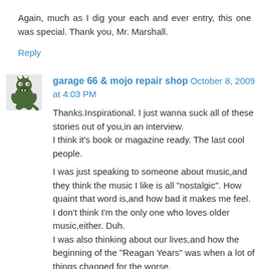Again, much as I dig your each and ever entry, this one was special. Thank you, Mr. Marshall.
Reply
garage 66 & mojo repair shop  October 8, 2009 at 4:03 PM
Thanks.Inspirational. I just wanna suck all of these stories out of you,in an interview.
I think it's book or magazine ready. The last cool people.

I was just speaking to someone about music,and they think the music I like is all "nostalgic". How quaint that word is,and how bad it makes me feel.
I don't think I'm the only one who loves older music,either. Duh.
I was also thinking about our lives,and how the beginning of the "Reagan Years" was when a lot of things changed for the worse.
And Rob O'Conner is a real fucker for doing that to you. How can you trust anyone anymore.
But at least you have these memories. I shoulda moved to